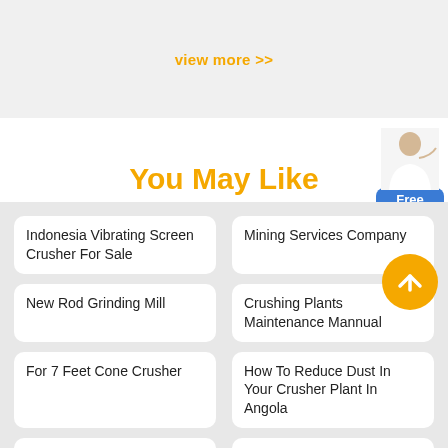view more >>
You May Like
Indonesia Vibrating Screen Crusher For Sale
Mining Services Company
New Rod Grinding Mill
Crushing Plants Maintenance Mannual
For 7 Feet Cone Crusher
How To Reduce Dust In Your Crusher Plant In Angola
Crusher On Site Cost
Ceramic Ball Mill For Grinding Iron Ore